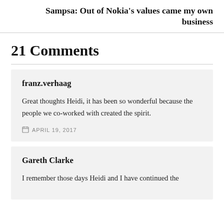Sampsa: Out of Nokia's values came my own business
21 Comments
franz.verhaag
Great thoughts Heidi, it has been so wonderful because the people we co-worked with created the spirit.
APRIL 19, 2017
Gareth Clarke
I remember those days Heidi and I have continued the